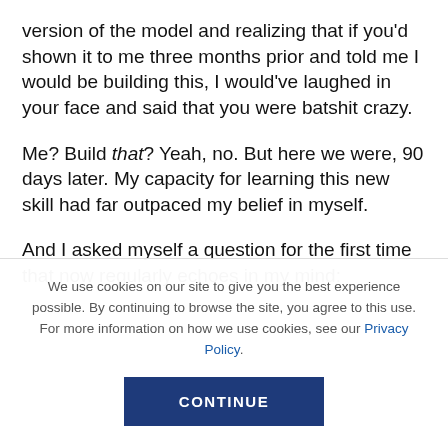version of the model and realizing that if you'd shown it to me three months prior and told me I would be building this, I would've laughed in your face and said that you were batshit crazy.
Me? Build that? Yeah, no. But here we were, 90 days later. My capacity for learning this new skill had far outpaced my belief in myself.
And I asked myself a question for the first time that now regularly echoes in my mind:
We use cookies on our site to give you the best experience possible. By continuing to browse the site, you agree to this use. For more information on how we use cookies, see our Privacy Policy.
CONTINUE